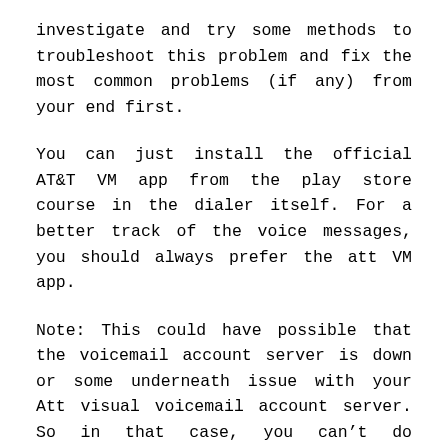investigate and try some methods to troubleshoot this problem and fix the most common problems (if any) from your end first.
You can just install the official AT&T VM app from the play store course in the dialer itself. For a better track of the voice messages, you should always prefer the att VM app.
Note: This could have possible that the voicemail account server is down or some underneath issue with your Att visual voicemail account server. So in that case, you can’t do anything from your end and hence just approach the att support staff for resolution.